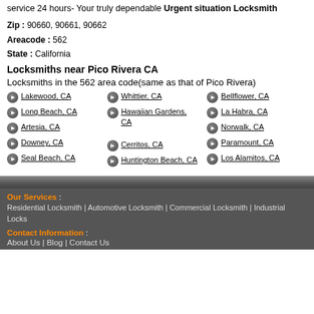service 24 hours- Your truly dependable Urgent situation Locksmith
Zip : 90660, 90661, 90662
Areacode : 562
State : California
Locksmiths near Pico Rivera CA
Locksmiths in the 562 area code(same as that of Pico Rivera)
Lakewood, CA
Long Beach, CA
Artesia, CA
Downey, CA
Seal Beach, CA
Whittier, CA
Hawaiian Gardens, CA
Cerritos, CA
Huntington Beach, CA
Bellflower, CA
La Habra, CA
Norwalk, CA
Paramount, CA
Los Alamitos, CA
Our Services : Residential Locksmith | Automotive Locksmith | Commercial Locksmith | Industrial Locks
Contact Information : About Us | Blog | Contact Us